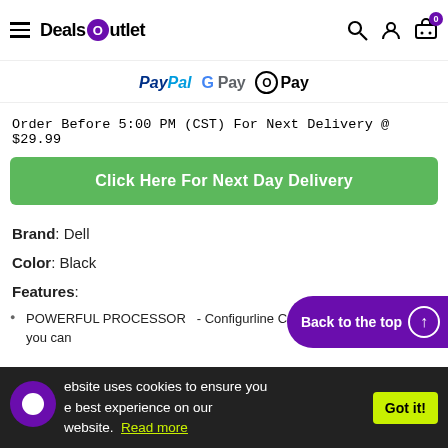DealsOutlet — navigation bar with hamburger menu, logo, search, user, and cart (0)
[Figure (logo): Payment method logos: PayPal, G Pay, OPay]
Order Before 5:00 PM (CST) For Next Delivery @ $29.99
Click Here For Next Day Delivery
Brand: Dell
Color: Black
Features:
POWERFUL PROCESSOR - Configure line Core i5 series processor so you can
Back to the top
website uses cookies to ensure you get the best experience on our website. Read more  Got it!